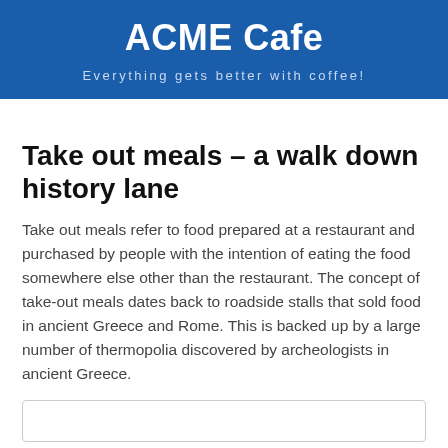ACME Cafe
Everything gets better with coffee!
Take out meals – a walk down history lane
Take out meals refer to food prepared at a restaurant and purchased by people with the intention of eating the food somewhere else other than the restaurant. The concept of take-out meals dates back to roadside stalls that sold food in ancient Greece and Rome. This is backed up by a large number of thermopolia discovered by archeologists in ancient Greece.
[Figure (other): Empty bordered box at the bottom of the page]